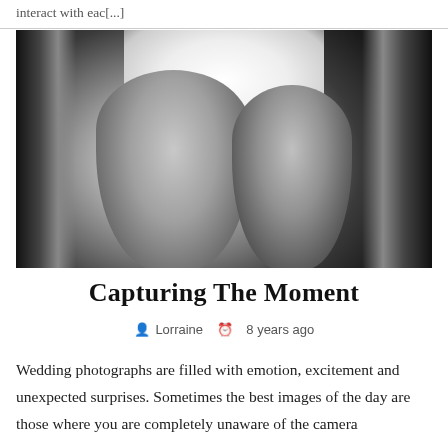interact with eac[...]
[Figure (photo): Black and white wedding photograph showing a bride in a lace dress holding a bouquet and a young flower girl wearing a floral crown, standing near a window with curtains.]
Capturing The Moment
Lorraine   8 years ago
Wedding photographs are filled with emotion, excitement and unexpected surprises. Sometimes the best images of the day are those where you are completely unaware of the camera